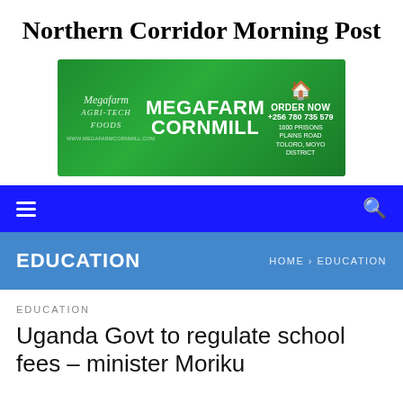Northern Corridor Morning Post
[Figure (infographic): Green advertisement banner for Megafarm Cornmill showing logo, product name, order now CTA with phone number +256 780 735 579, address at 1600 Prisons Plains Road Toloro, Moyo District, and website www.megafarmcornmill.com]
EDUCATION
HOME › EDUCATION
EDUCATION
Uganda Govt to regulate school fees – minister Moriku